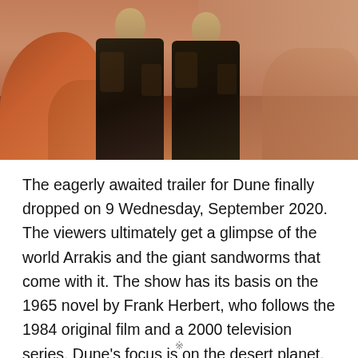[Figure (photo): Two figures in dark desert suits standing on sandy terrain with reddish-orange sky and rocky landscape, from the Dune film]
The eagerly awaited trailer for Dune finally dropped on 9 Wednesday, September 2020. The viewers ultimately get a glimpse of the world Arrakis and the giant sandworms that come with it. The show has its basis on the 1965 novel by Frank Herbert, who follows the 1984 original film and a 2000 television series. Dune's focus is on the desert planet, and the spice